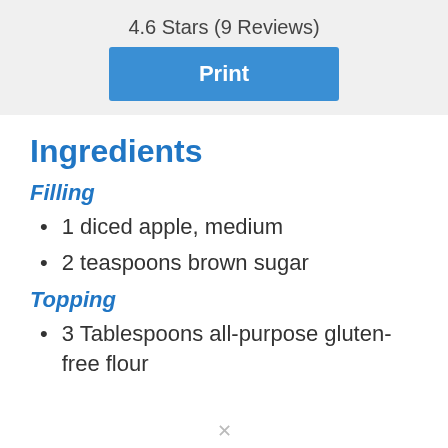4.6 Stars (9 Reviews)
Print
Ingredients
Filling
1 diced apple, medium
2 teaspoons brown sugar
Topping
3 Tablespoons all-purpose gluten-free flour